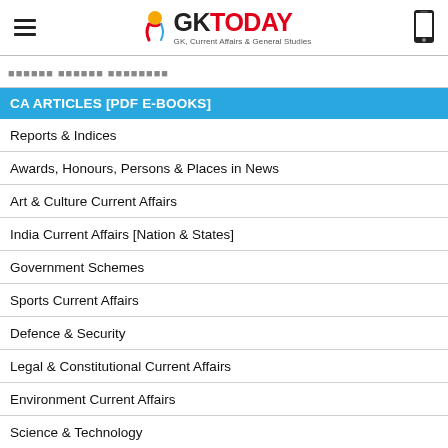GK TODAY — GK, Current Affairs & General Studies
[redacted text in non-Latin script]
CA ARTICLES [PDF E-BOOKS]
Reports & Indices
Awards, Honours, Persons & Places in News
Art & Culture Current Affairs
India Current Affairs [Nation & States]
Government Schemes
Sports Current Affairs
Defence & Security
Legal & Constitutional Current Affairs
Environment Current Affairs
Science & Technology